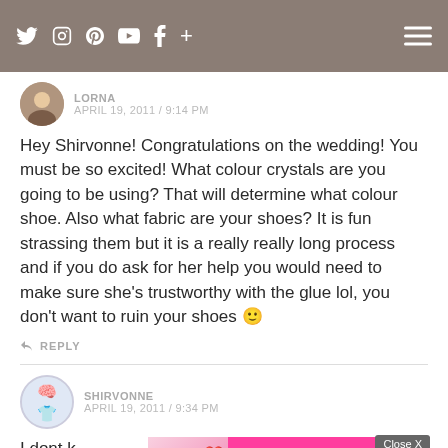Social media icons: Twitter, Instagram, Pinterest, YouTube, Facebook, Plus. Hamburger menu.
LORNA
APRIL 19, 2011 / 9:14 PM
Hey Shirvonne! Congratulations on the wedding! You must be so excited! What colour crystals are you going to be using? That will determine what colour shoe. Also what fabric are your shoes? It is fun strassing them but it is a really really long process and if you do ask for her help you would need to make sure she's trustworthy with the glue lol, you don't want to ruin your shoes 🙂
↩ REPLY
SHIRVONNE
APRIL 19, 2011 / 9:34 PM
I dont k... s shoe! 🙂 Kinda... ally just
[Figure (screenshot): Advertisement overlay: pink background with 'MEET WITH LOCAL SINGLES' text and Clover branding. Close X button visible. Also shows a woman's face with a heart emoji on the left side of the ad.]